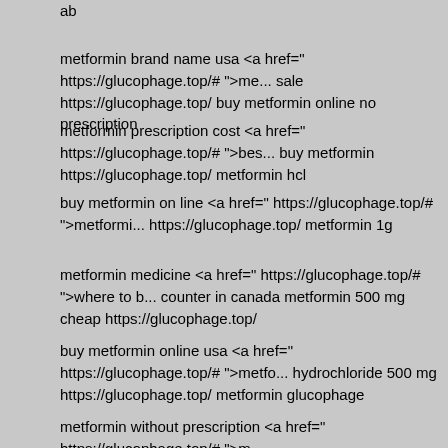ab
metformin brand name usa <a href=" https://glucophage.top/# ">me... sale https://glucophage.top/ buy metformin online no prescription
metformin prescription cost <a href=" https://glucophage.top/# ">bes... buy metformin https://glucophage.top/ metformin hcl
buy metformin on line <a href=" https://glucophage.top/# ">metformi... https://glucophage.top/ metformin 1g
metformin medicine <a href=" https://glucophage.top/# ">where to b... counter in canada metformin 500 mg cheap https://glucophage.top/
buy metformin online usa <a href=" https://glucophage.top/# ">metfo... hydrochloride 500 mg https://glucophage.top/ metformin glucophage
metformin without prescription <a href=" https://glucophage.top/# ">m... south africa can i buy metformin over the counter in uk https://gluco...
metformin 25g <a href=" https://glucophage.top/# ">metformin xl</a>... in india https://glucophage.top/ metformin 500 mg otc
metformin europe <a href=" https://glucophage.top/# ">best price me... metformin online https://glucophage.top/ buy metformin 1000 mg wit...
metformin purchase <a href=" https://glucophage.top/# ">best price ...